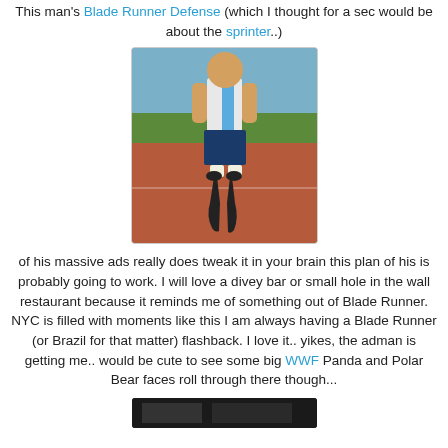This man's Blade Runner Defense (which I thought for a sec would be about the sprinter..)
[Figure (photo): A person with prosthetic blade running legs standing on an athletic track, wearing a white and blue sleeveless top and dark shorts, outdoors with green trees and track in background.]
of his massive ads really does tweak it in your brain this plan of his is probably going to work. I will love a divey bar or small hole in the wall restaurant because it reminds me of something out of Blade Runner. NYC is filled with moments like this I am always having a Blade Runner (or Brazil for that matter) flashback. I love it.. yikes, the adman is getting me.. would be cute to see some big WWF Panda and Polar Bear faces roll through there though...
[Figure (photo): A dark image at the bottom of the page, partially visible.]